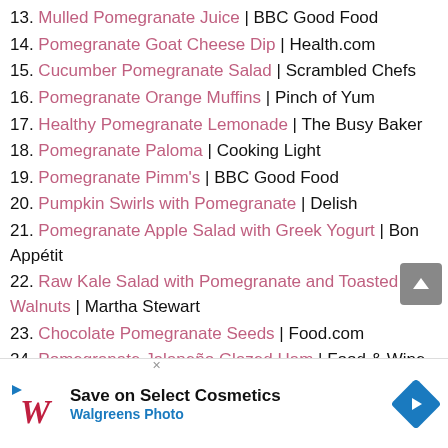13. Mulled Pomegranate Juice | BBC Good Food
14. Pomegranate Goat Cheese Dip | Health.com
15. Cucumber Pomegranate Salad | Scrambled Chefs
16. Pomegranate Orange Muffins | Pinch of Yum
17. Healthy Pomegranate Lemonade | The Busy Baker
18. Pomegranate Paloma | Cooking Light
19. Pomegranate Pimm's | BBC Good Food
20. Pumpkin Swirls with Pomegranate | Delish
21. Pomegranate Apple Salad with Greek Yogurt | Bon Appétit
22. Raw Kale Salad with Pomegranate and Toasted Walnuts | Martha Stewart
23. Chocolate Pomegranate Seeds | Food.com
24. Pomegranate Jalapeño Glazed Ham | Food & Wine
25. Pomegranate and Pistachio Chicken Dru...
26. ...
[Figure (other): Advertisement banner: Walgreens Photo - Save on Select Cosmetics]